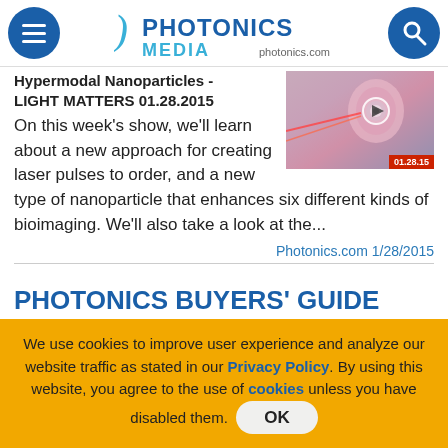Photonics Media - photonics.com
Hypermodal Nanoparticles - LIGHT MATTERS 01.28.2015
[Figure (photo): Thumbnail image of a glowing pink/rose orb with laser beams, with a play button overlay and date stamp 01.28.15 on red background]
On this week's show, we'll learn about a new approach for creating laser pulses to order, and a new type of nanoparticle that enhances six different kinds of bioimaging. We'll also take a look at the...
Photonics.com 1/28/2015
PHOTONICS BUYERS' GUIDE CATEGORIES
We use cookies to improve user experience and analyze our website traffic as stated in our Privacy Policy. By using this website, you agree to the use of cookies unless you have disabled them.